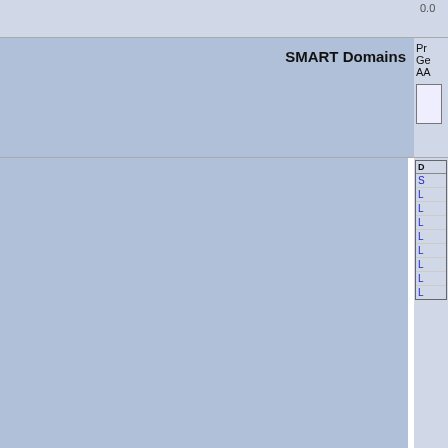|  | SMART Domains | Protein/Gene/AA info |
| --- | --- | --- |
|  | SMART Domains | Pr
Ge
AA
[image]
D
S
L
L
L
L
L
L
L
L |
0.0
SMART Domains
Pr
Ge
AA
D
S
L
L
L
L
L
L
L
L